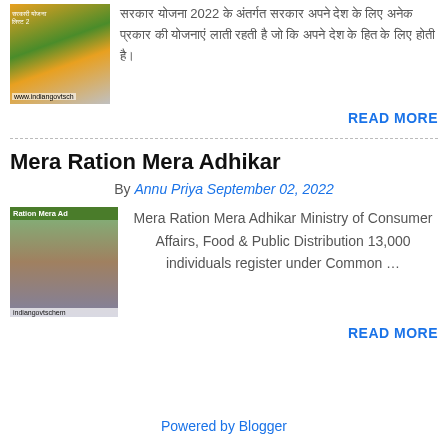[Figure (photo): Thumbnail image of a government scheme webpage showing www.indiangovtsch URL]
सरकार योजना 2022 के अंतर्गत सरकार अपने देश के लिए अनेक प्रकार की योजनाएं लाती रहती है जो कि अपने देश के हित के लिए होती है।
READ MORE
Mera Ration Mera Adhikar
By Annu Priya September 02, 2022
[Figure (photo): Thumbnail image labeled Ration Mera Ad with grain/food imagery, indiangovtschem watermark]
Mera Ration Mera Adhikar Ministry of Consumer Affairs, Food & Public Distribution 13,000 individuals register under Common …
READ MORE
Powered by Blogger